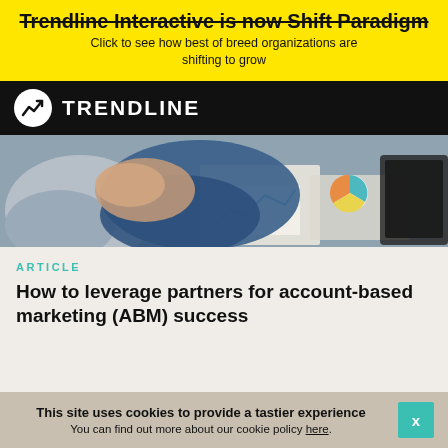Trendline Interactive is now Shift Paradigm
Click to see how best of breed organizations are shifting to grow
[Figure (logo): Trendline logo: white circle with stylized upward arrow/chart icon on black background, with TRENDLINE text in white]
[Figure (photo): Close-up photo of two people shaking hands over a desk with charts and papers, business meeting setting]
ARTICLE
How to leverage partners for account-based marketing (ABM) success
This site uses cookies to provide a tastier experience
You can find out more about our cookie policy here.